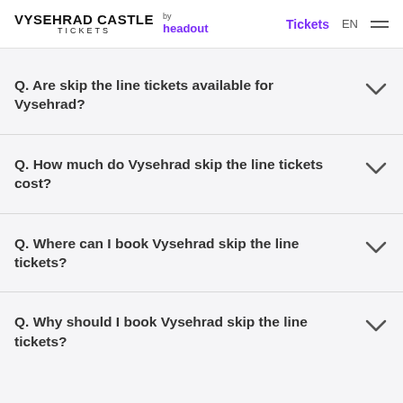VYSEHRAD CASTLE TICKETS by headout | Tickets EN
Q. Are skip the line tickets available for Vysehrad?
Q. How much do Vysehrad skip the line tickets cost?
Q. Where can I book Vysehrad skip the line tickets?
Q. Why should I book Vysehrad skip the line tickets?